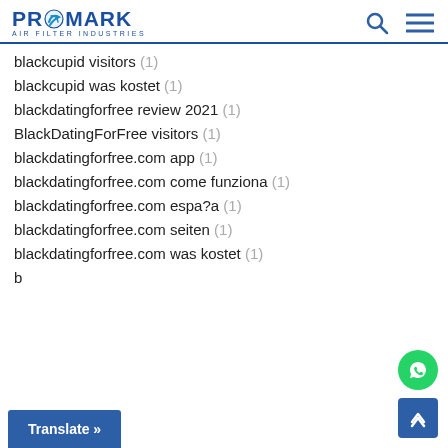PROMARK AIR FILTER INDUSTRIES
blackcupid visitors (1)
blackcupid was kostet (1)
blackdatingforfree review 2021 (1)
BlackDatingForFree visitors (1)
blackdatingforfree.com app (1)
blackdatingforfree.com come funziona (1)
blackdatingforfree.com espa?a (1)
blackdatingforfree.com seiten (1)
blackdatingforfree.com was kostet (1)
Translate »